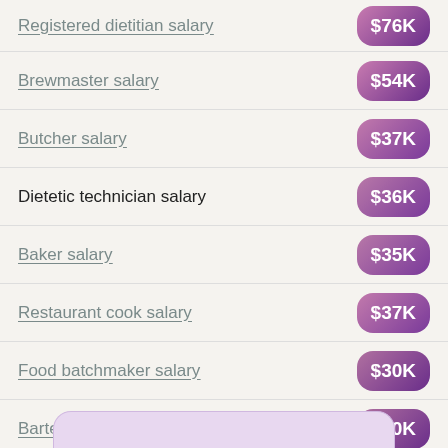Registered dietitian salary — $76K
Brewmaster salary — $54K
Butcher salary — $37K
Dietetic technician salary — $36K
Baker salary — $35K
Restaurant cook salary — $37K
Food batchmaker salary — $30K
Bartender salary — $30K